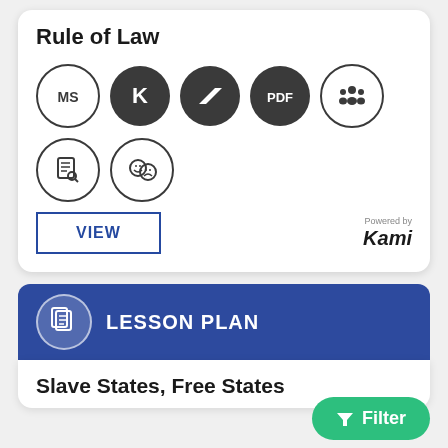Rule of Law
[Figure (infographic): Row of 5 circular icons: MS (outline circle), K (dark filled), parallelogram/skew shape (dark filled), PDF (dark filled), group-of-people (outline circle). Second row of 2 icons: document-search (outline circle), comedy-tragedy masks (outline circle).]
VIEW
Powered by Kami
LESSON PLAN
Slave States, Free States